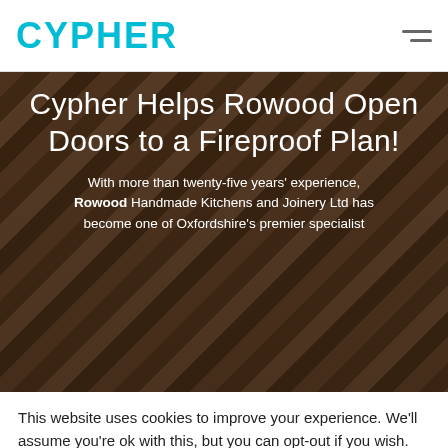CYPHER
Cypher Helps Rowood Open Doors to a Fireproof Plan!
With more than twenty-five years' experience, Rowood Handmade Kitchens and Joinery Ltd has become one of Oxfordshire's premier specialist
This website uses cookies to improve your experience. We'll assume you're ok with this, but you can opt-out if you wish.
Accept
Reject
Read More